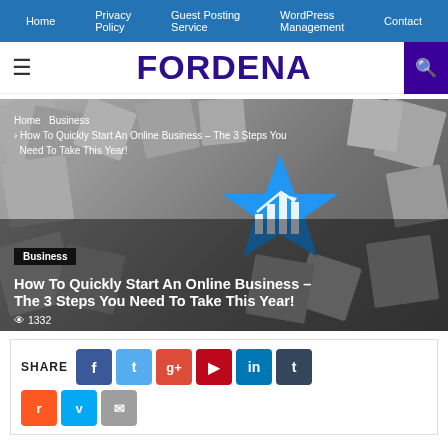Home | Privacy Policy | Guest Posting Service | WordPress Management | Contact
FORDENA
[Figure (screenshot): Hero image with gray blocks/cubes and a blue star shape with bar chart icon. Breadcrumb: Home > Business > How To Quickly Start An Online Business – The 3 Steps You Need To Take This Year! Category badge: Business. Article title: How To Quickly Start An Online Business – The 3 Steps You Need To Take This Year! Views: 1332]
SHARE
Social share buttons: Facebook, Twitter, Google+, Pinterest, LinkedIn, Tumblr, and additional share options